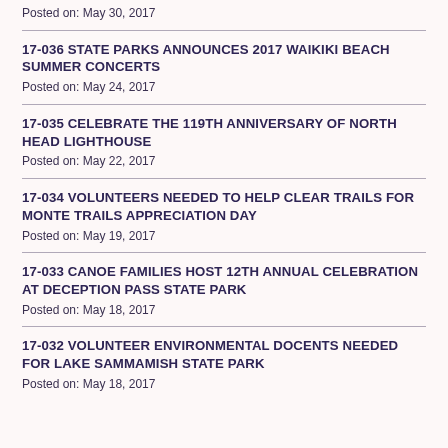Posted on: May 30, 2017
17-036 STATE PARKS ANNOUNCES 2017 WAIKIKI BEACH SUMMER CONCERTS
Posted on: May 24, 2017
17-035 CELEBRATE THE 119TH ANNIVERSARY OF NORTH HEAD LIGHTHOUSE
Posted on: May 22, 2017
17-034 VOLUNTEERS NEEDED TO HELP CLEAR TRAILS FOR MONTE TRAILS APPRECIATION DAY
Posted on: May 19, 2017
17-033 CANOE FAMILIES HOST 12TH ANNUAL CELEBRATION AT DECEPTION PASS STATE PARK
Posted on: May 18, 2017
17-032 VOLUNTEER ENVIRONMENTAL DOCENTS NEEDED FOR LAKE SAMMAMISH STATE PARK
Posted on: May 18, 2017